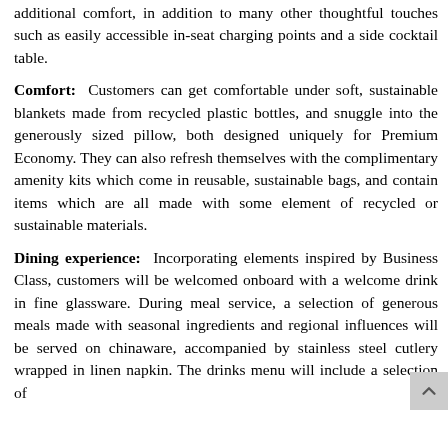additional comfort, in addition to many other thoughtful touches such as easily accessible in-seat charging points and a side cocktail table.
Comfort: Customers can get comfortable under soft, sustainable blankets made from recycled plastic bottles, and snuggle into the generously sized pillow, both designed uniquely for Premium Economy. They can also refresh themselves with the complimentary amenity kits which come in reusable, sustainable bags, and contain items which are all made with some element of recycled or sustainable materials.
Dining experience: Incorporating elements inspired by Business Class, customers will be welcomed onboard with a welcome drink in fine glassware. During meal service, a selection of generous meals made with seasonal ingredients and regional influences will be served on chinaware, accompanied by stainless steel cutlery wrapped in linen napkin. The drinks menu will include a selection of